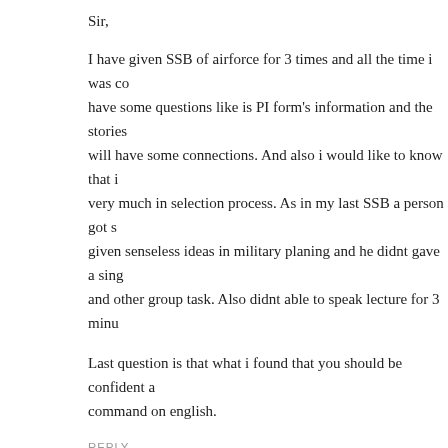Sir,
I have given SSB of airforce for 3 times and all the time i was co... have some questions like is PI form's information and the stories will have some connections. And also i would like to know that i very much in selection process. As in my last SSB a person got s given senseless ideas in military planing and he didnt gave a sing and other group task. Also didnt able to speak lecture for 3 minu
Last question is that what i found that you should be confident a command on english.
REPLY
ashwini  August 26, 2012 at 12:40 am
dear sir ….Tell me about UES entry procedure in armed forces...